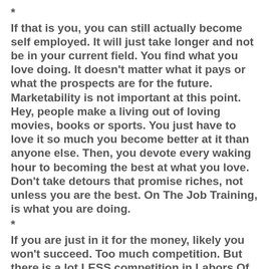*
If that is you, you can still actually become self employed. It will just take longer and not be in your current field. You find what you love doing. It doesn't matter what it pays or what the prospects are for the future. Marketability is not important at this point. Hey, people make a living out of loving movies, books or sports. You just have to love it so much you become better at it than anyone else. Then, you devote every waking hour to becoming the best at what you love. Don't take detours that promise riches, not unless you are the best. On The Job Training, is what you are doing.
*
If you are just in it for the money, likely you won't succeed. Too much competition. But there is a lot LESS competition in Labors Of Love, and Relentless Perfection. Anyone can be greedy, and